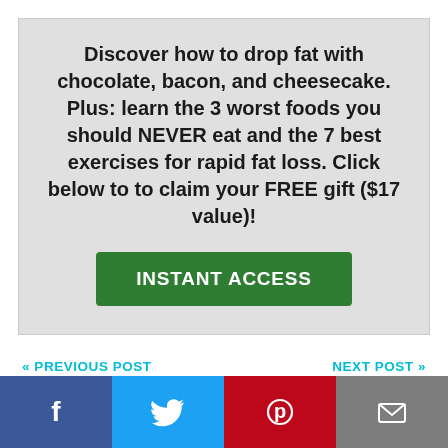Discover how to drop fat with chocolate, bacon, and cheesecake. Plus: learn the 3 worst foods you should NEVER eat and the 7 best exercises for rapid fat loss. Click below to to claim your FREE gift ($17 value)!
[Figure (other): Green call-to-action button labeled INSTANT ACCESS]
<< PREVIOUS POST
NEXT POST >>
[Figure (other): Social media share bar with Facebook, Twitter, Pinterest, and Email buttons]